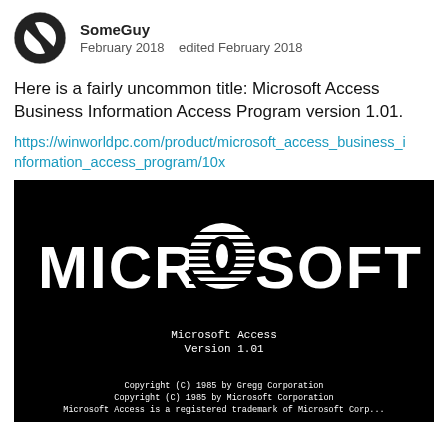[Figure (screenshot): User avatar: black and white circular avatar with a diagonal slash/letter shape]
SomeGuy
February 2018    edited February 2018
Here is a fairly uncommon title: Microsoft Access Business Information Access Program version 1.01.
https://winworldpc.com/product/microsoft_access_business_information_access_program/10x
[Figure (screenshot): Black splash screen for Microsoft Access Version 1.01. Large white MICROSOFT logo with globe-style O in center. Below: 'Microsoft Access Version 1.01'. At bottom: 'Copyright (C) 1985 by Gregg Corporation / Copyright (C) 1985 by Microsoft Corporation / Microsoft Access is a registered trademark of Microsoft Corp...']